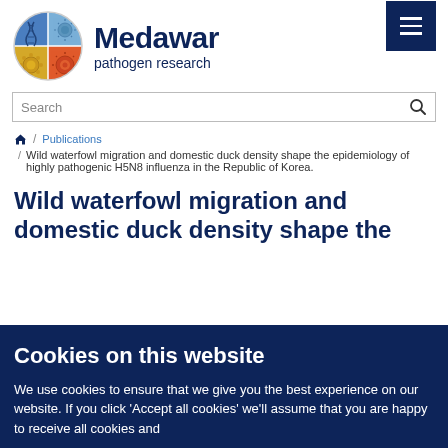[Figure (logo): Medawar pathogen research logo — circular pie-style graphic with biological illustrations (DNA, virus, bacteria), four colored quadrants (blue, yellow, green, orange-red)]
Medawar pathogen research
Search
Home / Publications / Wild waterfowl migration and domestic duck density shape the epidemiology of highly pathogenic H5N8 influenza in the Republic of Korea.
Wild waterfowl migration and domestic duck density shape the
Cookies on this website
We use cookies to ensure that we give you the best experience on our website. If you click 'Accept all cookies' we'll assume that you are happy to receive all cookies and